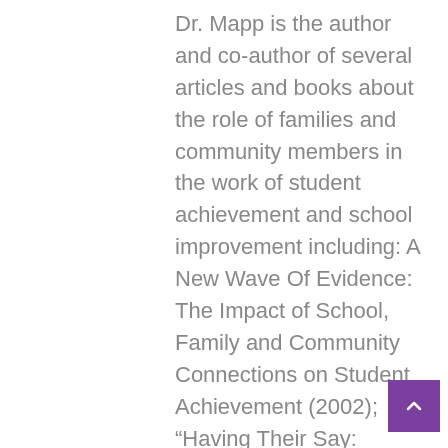Dr. Mapp is the author and co-author of several articles and books about the role of families and community members in the work of student achievement and school improvement including: A New Wave Of Evidence: The Impact of School, Family and Community Connections on Student Achievement (2002); “Having Their Say: Parents Describe How and Why They are Engaged in Their Children’s Learning” (2003); Beyond the Bake Sale: The Essential Guide to Family-School Partnerships (2010); “Debunking the Myth of the Hard to Reach Parent” (2010); “Title